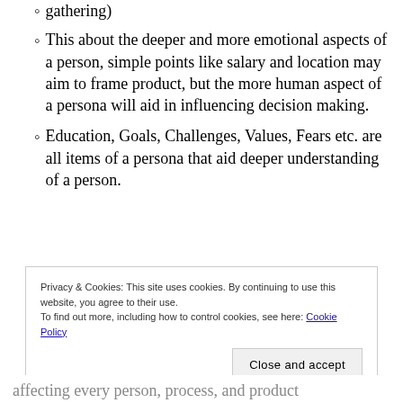gathering)
This about the deeper and more emotional aspects of a person, simple points like salary and location may aim to frame product, but the more human aspect of a persona will aid in influencing decision making.
Education, Goals, Challenges, Values, Fears etc. are all items of a persona that aid deeper understanding of a person.
Privacy & Cookies: This site uses cookies. By continuing to use this website, you agree to their use.
To find out more, including how to control cookies, see here: Cookie Policy
affecting every person, process, and product